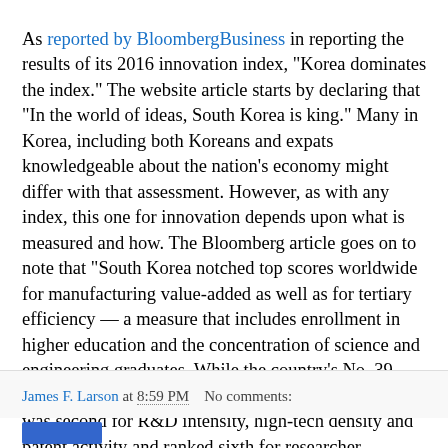As reported by BloombergBusiness in reporting the results of its 2016 innovation index, "Korea dominates the index." The website article starts by declaring that "In the world of ideas, South Korea is king." Many in Korea, including both Koreans and expats knowledgeable about the nation's economy might differ with that assessment. However, as with any index, this one for innovation depends upon what is measured and how. The Bloomberg article goes on to note that "South Korea notched top scores worldwide for manufacturing value-added as well as for tertiary efficiency — a measure that includes enrollment in higher education and the concentration of science and engineering graduates. While the country's No. 39 ranking for productivity might pass for mediocre, it was second for R&D intensity, high-tech density and patent activity and ranked sixth for researcher concentration." The accompanying graphic (click for a full size version) shows at a glance how Korea compares with other countries in the top ten on the 2016 Bloomberg index..
James F. Larson at 8:59 PM   No comments: